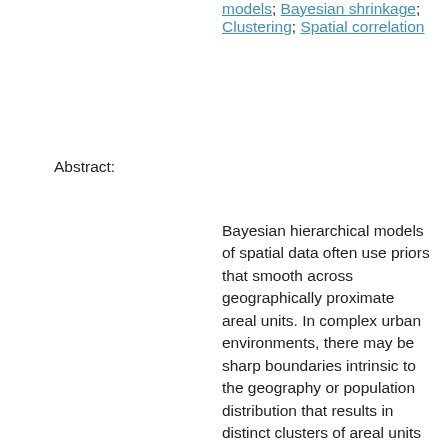models; Bayesian shrinkage; Clustering; Spatial correlation
Abstract:
Bayesian hierarchical models of spatial data often use priors that smooth across geographically proximate areal units. In complex urban environments, there may be sharp boundaries intrinsic to the geography or population distribution that results in distinct clusters of areal units exhibiting markedly different trends. Typically, this partition is unknown a priori and the